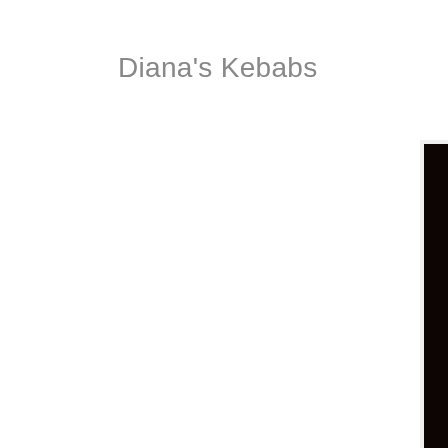Diana's Kebabs
[Figure (photo): Close-up photo of grilled kebabs with ground meat and tomatoes on skewers, dark background, bokeh effect]